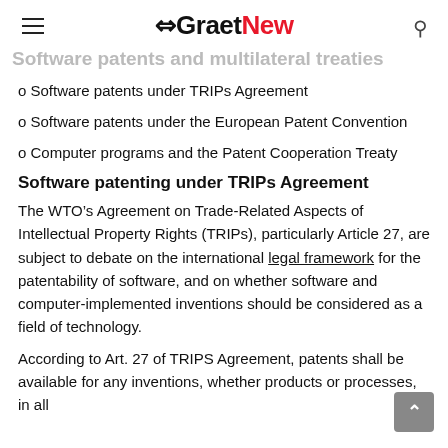GraetNew
Software patents and multilateral treaties
o Software patents under TRIPs Agreement
o Software patents under the European Patent Convention
o Computer programs and the Patent Cooperation Treaty
Software patenting under TRIPs Agreement
The WTO’s Agreement on Trade-Related Aspects of Intellectual Property Rights (TRIPs), particularly Article 27, are subject to debate on the international legal framework for the patentability of software, and on whether software and computer-implemented inventions should be considered as a field of technology.
According to Art. 27 of TRIPS Agreement, patents shall be available for any inventions, whether products or processes, in all